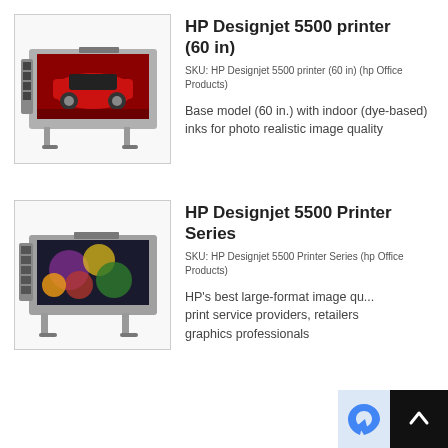[Figure (photo): HP Designjet 5500 printer (60 in) - large format printer with red sports car print shown on media, grey body with ink cartridges visible on left]
HP Designjet 5500 printer (60 in)
SKU: HP Designjet 5500 printer (60 in) (hp Office Products)
Base model (60 in.) with indoor (dye-based) inks for photo realistic image quality
[Figure (photo): HP Designjet 5500 Printer Series - large format printer with colorful artwork print shown on media, grey body with ink cartridges visible on left]
HP Designjet 5500 Printer Series
SKU: HP Designjet 5500 Printer Series (hp Office Products)
HP's best large-format image qu... print service providers, retailers graphics professionals